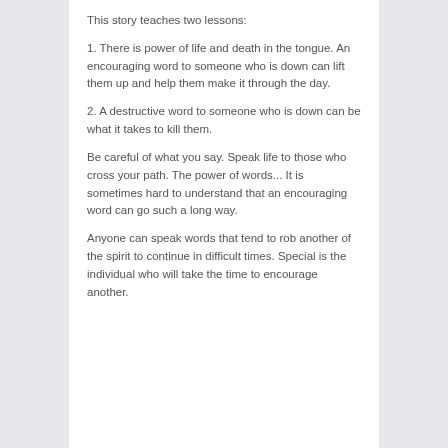This story teaches two lessons:
1. There is power of life and death in the tongue. An encouraging word to someone who is down can lift them up and help them make it through the day.
2. A destructive word to someone who is down can be what it takes to kill them.
Be careful of what you say. Speak life to those who cross your path. The power of words... It is sometimes hard to understand that an encouraging word can go such a long way.
Anyone can speak words that tend to rob another of the spirit to continue in difficult times. Special is the individual who will take the time to encourage another.